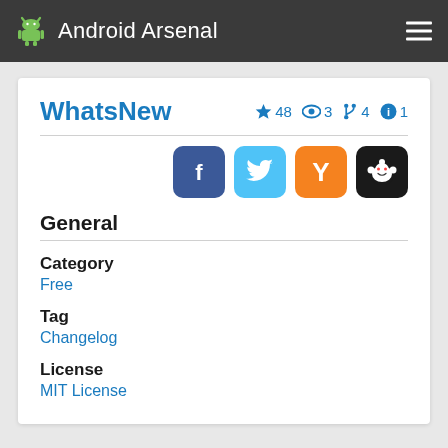Android Arsenal
WhatsNew
★ 48  👁 3  ⑂ 4  ℹ 1
[Figure (other): Social share icons: Facebook, Twitter, Hacker News (Y), Reddit]
General
Category
Free
Tag
Changelog
License
MIT License